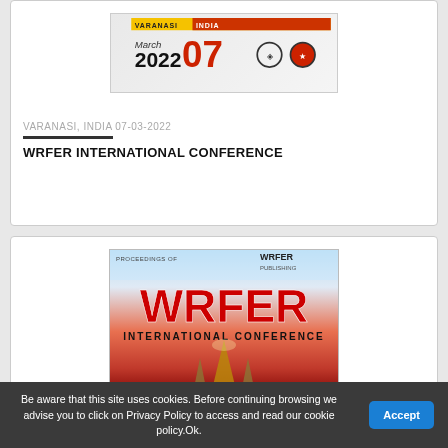[Figure (logo): WRFER International Conference logo with VARANASI banner, March 07 2022, and two circular icons]
VARANASI, INDIA 07-03-2022
WRFER INTERNATIONAL CONFERENCE
[Figure (photo): WRFER International Conference promotional image with red WRFER text, 'INTERNATIONAL CONFERENCE' subtitle, and a temple silhouette against a red/pink gradient sky]
Be aware that this site uses cookies. Before continuing browsing we advise you to click on Privacy Policy to access and read our cookie policy.Ok.